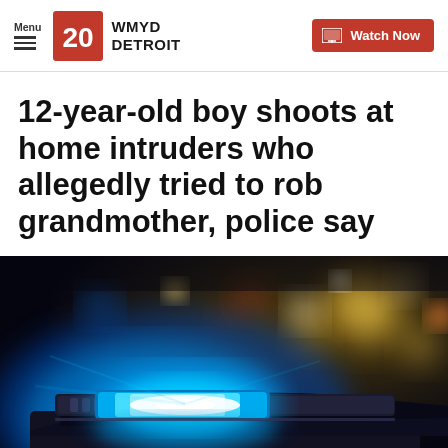Menu | WMYD DETROIT | Watch Now
12-year-old boy shoots at home intruders who allegedly tried to rob grandmother, police say
[Figure (photo): Close-up of a blue police car emergency light/siren at night with bokeh city lights in the background]